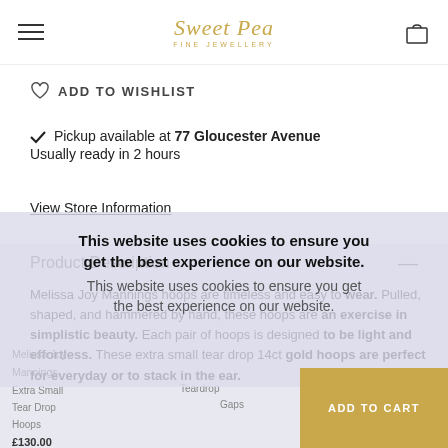Sweet Pea Fine Jewellery
ADD TO WISHLIST
Pickup available at 77 Gloucester Avenue
Usually ready in 2 hours
View Store Information
Product Description
Melissa Joy Mannings hoops are timeless and easy to wear. Pulled, shaped, and hammered by hand, these hoops are an exercise in simplistic beauty. Each pair of hoops is designed to be light and effortless. These extra small tear drop 14ct gold hoops are perfect for everyday or to stack in the ear.
This website uses cookies to ensure you get the best experience on our website.
Extra Small Tear Drop Hoops £130.00 incl VAT 14ct Gold